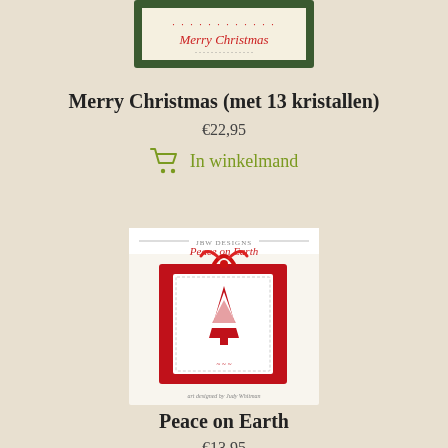[Figure (photo): Cross-stitch Merry Christmas framed piece with dark green border]
Merry Christmas (met 13 kristallen)
€22,95
In winkelmand
[Figure (photo): Peace on Earth cross-stitch pattern booklet showing red Christmas tree design on white with red ribbon]
Peace on Earth
€13,95